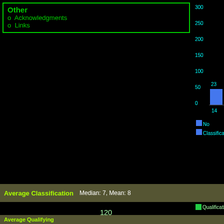Other
o Acknowledgments
o Links
[Figure (bar-chart): Classification counts]
Average Classification   Median: 7, Mean: 8
[Figure (bar-chart): Average Classification]
Qualification p
Average Qualifying